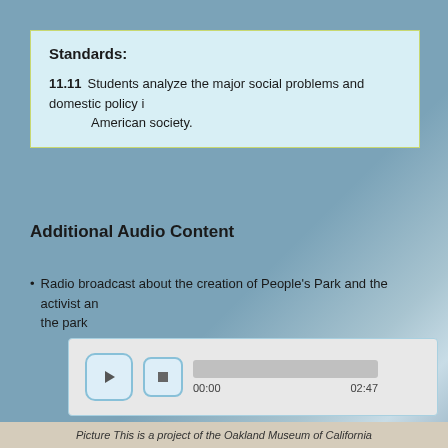Standards:
11.11  Students analyze the major social problems and domestic policy issues in post–World War II American society.
Additional Audio Content
Radio broadcast about the creation of People's Park and the activist and community response to the park
[Figure (screenshot): Audio player interface with play button, stop button, progress bar, and time display showing 00:00 and 02:47]
Picture This is a project of the Oakland Museum of California